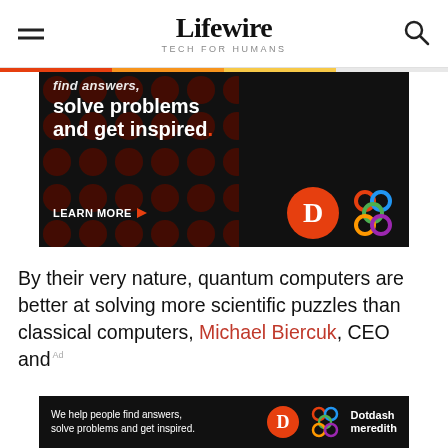Lifewire TECH FOR HUMANS
[Figure (advertisement): Dotdash Meredith ad: 'find answers, solve problems and get inspired.' with LEARN MORE button, D logo and colorful knot logo on black background with dark red circles]
By their very nature, quantum computers are better at solving more scientific puzzles than classical computers, Michael Biercuk, CEO and
[Figure (advertisement): Bottom sticky ad: 'We help people find answers, solve problems and get inspired.' with D logo and Dotdash Meredith branding]